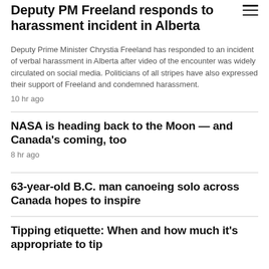Deputy PM Freeland responds to harassment incident in Alberta
Deputy Prime Minister Chrystia Freeland has responded to an incident of verbal harassment in Alberta after video of the encounter was widely circulated on social media. Politicians of all stripes have also expressed their support of Freeland and condemned harassment.
10 hr ago
NASA is heading back to the Moon — and Canada's coming, too
8 hr ago
63-year-old B.C. man canoeing solo across Canada hopes to inspire
Tipping etiquette: When and how much it's appropriate to tip